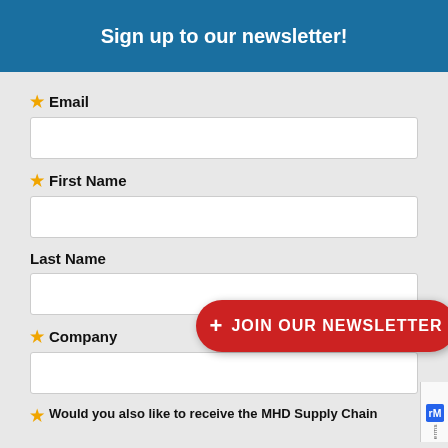Sign up to our newsletter!
* Email
* First Name
Last Name
+ JOIN OUR NEWSLETTER
* Company
* Would you also like to receive the MHD Supply Chain